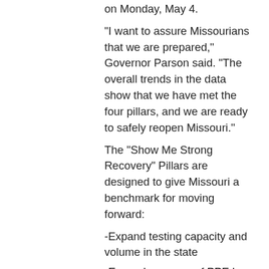on Monday, May 4.
"I want to assure Missourians that we are prepared," Governor Parson said. "The overall trends in the data show that we have met the four pillars, and we are ready to safely reopen Missouri."
The "Show Me Strong Recovery" Pillars are designed to give Missouri a benchmark for moving forward:
-Expand testing capacity and volume in the state
-Expand reserves of PPE by opening public and private supply chains
-Continue to monitor and, if necessary, expand hospital and health care system capacity
-Improve ability to predict potential outbreaks using Missouri's public health data
With the exception of the St. Louis